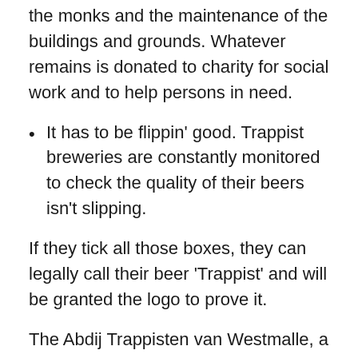the monks and the maintenance of the buildings and grounds. Whatever remains is donated to charity for social work and to help persons in need.
It has to be flippin' good. Trappist breweries are constantly monitored to check the quality of their beers isn't slipping.
If they tick all those boxes, they can legally call their beer 'Trappist' and will be granted the logo to prove it.
The Abdij Trappisten van Westmalle, a few miles north of Antwerp, was founded in 1794 and is arguably the most influential of all the Trappist brewers.
A few years before the turn of the 18th century, a